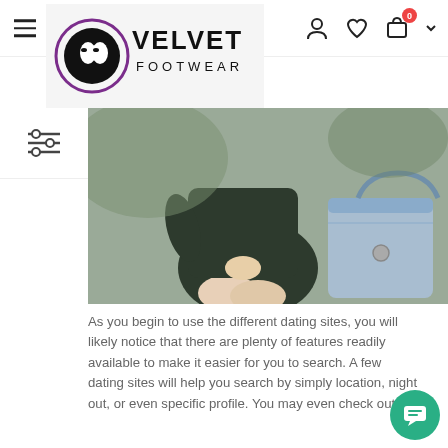Velvet Footwear — navigation bar with hamburger menu, logo, and icons
[Figure (photo): Woman in dark outfit sitting outdoors holding a light blue handbag]
As you begin to use the different dating sites, you will likely notice that there are plenty of features readily available to make it easier for you to search. A few dating sites will help you search by simply location, night out, or even specific profile. You may even check out the